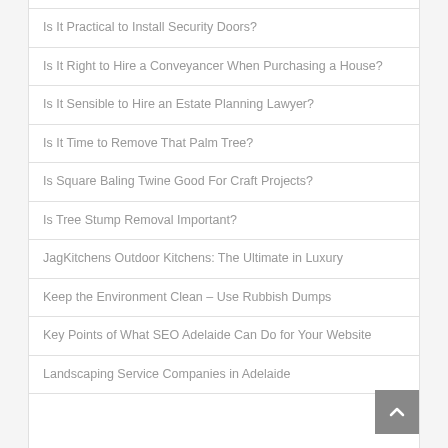Is It Practical to Install Security Doors?
Is It Right to Hire a Conveyancer When Purchasing a House?
Is It Sensible to Hire an Estate Planning Lawyer?
Is It Time to Remove That Palm Tree?
Is Square Baling Twine Good For Craft Projects?
Is Tree Stump Removal Important?
JagKitchens Outdoor Kitchens: The Ultimate in Luxury
Keep the Environment Clean – Use Rubbish Dumps
Key Points of What SEO Adelaide Can Do for Your Website
Landscaping Service Companies in Adelaide